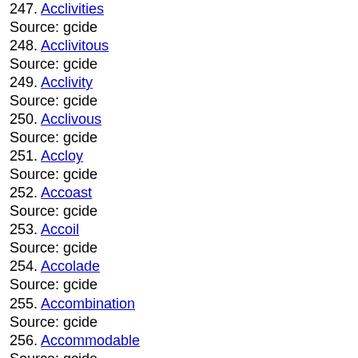247. Acclivities
Source: gcide
248. Acclivitous
Source: gcide
249. Acclivity
Source: gcide
250. Acclivous
Source: gcide
251. Accloy
Source: gcide
252. Accoast
Source: gcide
253. Accoil
Source: gcide
254. Accolade
Source: gcide
255. Accombination
Source: gcide
256. Accommodable
Source: gcide
257. Accommodableness
Source: gcide
258. Accommodate
Source: gcide
259. Accommodated
Source: gcide
260. Accommodately
Source: gcide
261. Accommodateness
Source: gcide
262. Accommodating
Source: gcide
263. Accommodation